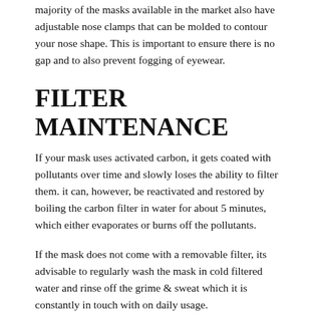majority of the masks available in the market also have adjustable nose clamps that can be molded to contour your nose shape. This is important to ensure there is no gap and to also prevent fogging of eyewear.
FILTER MAINTENANCE
If your mask uses activated carbon, it gets coated with pollutants over time and slowly loses the ability to filter them. it can, however, be reactivated and restored by boiling the carbon filter in water for about 5 minutes, which either evaporates or burns off the pollutants.
If the mask does not come with a removable filter, its advisable to regularly wash the mask in cold filtered water and rinse off the grime & sweat which it is constantly in touch with on daily usage.